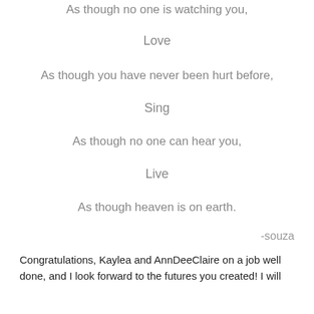As though no one is watching you,
Love
As though you have never been hurt before,
Sing
As though no one can hear you,
Live
As though heaven is on earth.
-souza
Congratulations, Kaylea and AnnDeeClaire on a job well done, and I look forward to the futures you created! I will